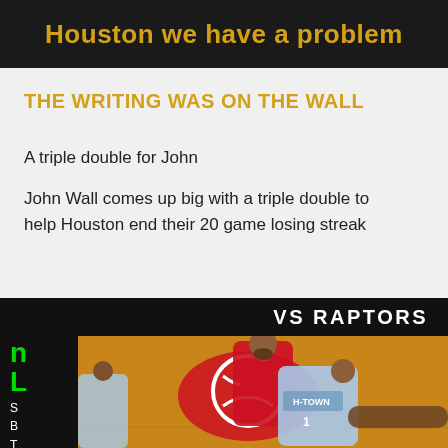[Figure (photo): Dark background image with yellow bold text 'Houston we have a problem']
THE WRITING WAS ON THE WALL
A triple double for John
John Wall comes up big with a triple double to help Houston end their 20 game losing streak
[Figure (photo): Basketball game photo showing players from Houston Rockets (H-TOWN jersey, #1) and Toronto Raptors on court at Toyota Center. Left sidebar shows stats labels: S, B, T, K, STL. Top bar reads VS RAPTORS.]